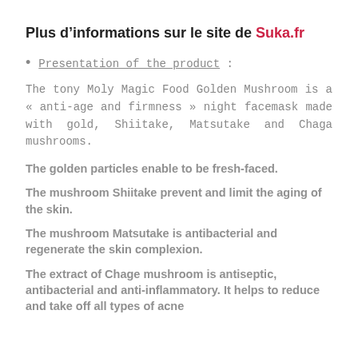Plus d’informations sur le site de Suka.fr
Presentation of the product :
The tony Moly Magic Food Golden Mushroom is a « anti-age and firmness » night facemask made with gold, Shiitake, Matsutake and Chaga mushrooms.
The golden particles enable to be fresh-faced.
The mushroom Shiitake prevent and limit the aging of the skin.
The mushroom Matsutake is antibacterial and regenerate the skin complexion.
The extract of Chage mushroom is antiseptic, antibacterial and anti-inflammatory. It helps to reduce and take off all types of acne